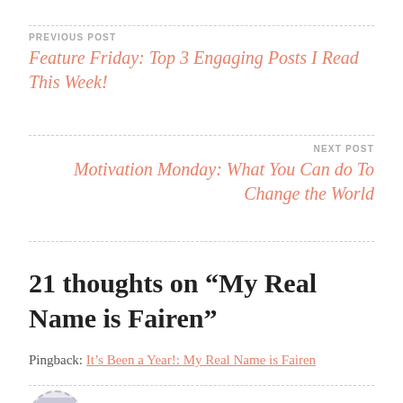PREVIOUS POST
Feature Friday: Top 3 Engaging Posts I Read This Week!
NEXT POST
Motivation Monday: What You Can do To Change the World
21 thoughts on “My Real Name is Fairen”
Pingback: It’s Been a Year!: My Real Name is Fairen
jessicasblog45